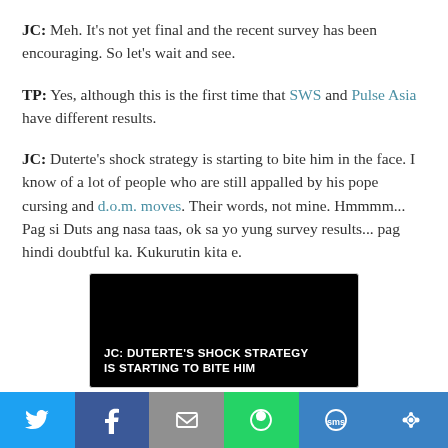JC: Meh. It's not yet final and the recent survey has been encouraging. So let's wait and see.
TP: Yes, although this is the first time that SWS and Pulse Asia have different results.
JC: Duterte's shock strategy is starting to bite him in the face. I know of a lot of people who are still appalled by his pope cursing and d.o.m. moves. Their words, not mine. Hmmmm... Pag si Duts ang nasa taas, ok sa yo yung survey results... pag hindi doubtful ka. Kukurutin kita e.
[Figure (screenshot): Black image card with white bold text reading: JC: DUTERTE'S SHOCK STRATEGY IS STARTING TO BITE HIM]
Twitter | Facebook | Email | WhatsApp | SMS | Other share buttons